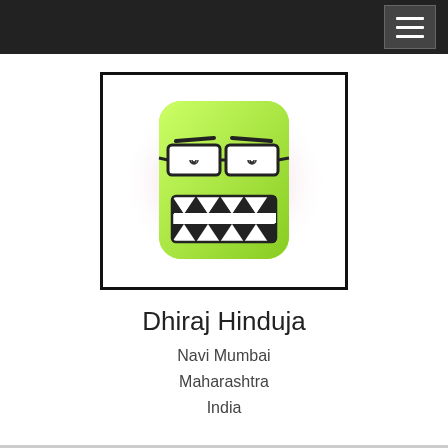[Figure (illustration): Cartoon avatar: a green square-shaped face with spiral eyes behind wide glasses and jagged teeth grinning, on a pink radial glow background, inside a black-bordered white rectangle.]
Dhiraj Hinduja
Navi Mumbai
Maharashtra
India